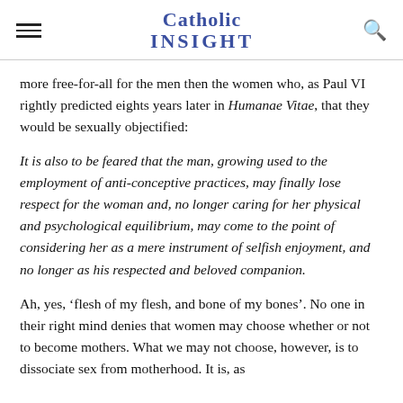Catholic INSIGHT
more free-for-all for the men then the women who, as Paul VI rightly predicted eights years later in Humanae Vitae, that they would be sexually objectified:
It is also to be feared that the man, growing used to the employment of anti-conceptive practices, may finally lose respect for the woman and, no longer caring for her physical and psychological equilibrium, may come to the point of considering her as a mere instrument of selfish enjoyment, and no longer as his respected and beloved companion.
Ah, yes, ‘flesh of my flesh, and bone of my bones’. No one in their right mind denies that women may choose whether or not to become mothers. What we may not choose, however, is to dissociate sex from motherhood. It is, as